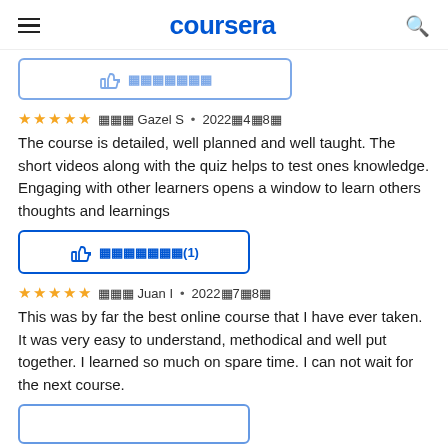coursera
[Figure (screenshot): Partially visible helpful button at top of page]
審査 Gazel S • 2022年4月8日
The course is detailed, well planned and well taught. The short videos along with the quiz helps to test ones knowledge. Engaging with other learners opens a window to learn others thoughts and learnings
[Figure (screenshot): Helpful button with thumbs up icon and text 参考になった(1)]
審査 Juan I • 2022年7月8日
This was by far the best online course that I have ever taken. It was very easy to understand, methodical and well put together. I learned so much on spare time. I can not wait for the next course.
[Figure (screenshot): Partially visible helpful button at bottom of page]